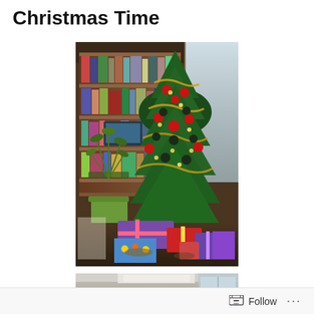Christmas Time
[Figure (photo): Indoor photo of a decorated Christmas tree with ornaments, tinsel garland, and gifts wrapped underneath. A potted plant is visible to the left. A bookshelf with books and items is in the background. Natural light comes from a window on the right.]
[Figure (photo): Partial view of a second indoor photo, showing a room interior with ceiling visible, cropped at the bottom of the page.]
Follow ...